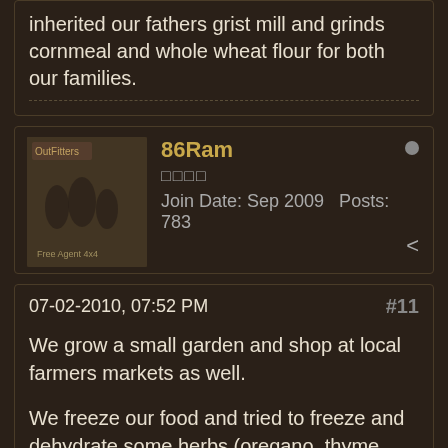inherited our fathers grist mill and grinds cornmeal and whole wheat flour for both our families.
86Ram
□□□□
Join Date: Sep 2009   Posts: 783
07-02-2010, 07:52 PM   #11
We grow a small garden and shop at local farmers markets as well.

We freeze our food and tried to freeze and dehydrate some herbs (oregano, thyme, rosemary)

Good stuff. Atleast we know whats in the food we eat.